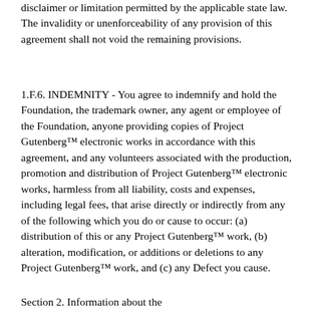disclaimer or limitation permitted by the applicable state law. The invalidity or unenforceability of any provision of this agreement shall not void the remaining provisions.
1.F.6. INDEMNITY - You agree to indemnify and hold the Foundation, the trademark owner, any agent or employee of the Foundation, anyone providing copies of Project Gutenberg™ electronic works in accordance with this agreement, and any volunteers associated with the production, promotion and distribution of Project Gutenberg™ electronic works, harmless from all liability, costs and expenses, including legal fees, that arise directly or indirectly from any of the following which you do or cause to occur: (a) distribution of this or any Project Gutenberg™ work, (b) alteration, modification, or additions or deletions to any Project Gutenberg™ work, and (c) any Defect you cause.
Section 2. Information about the